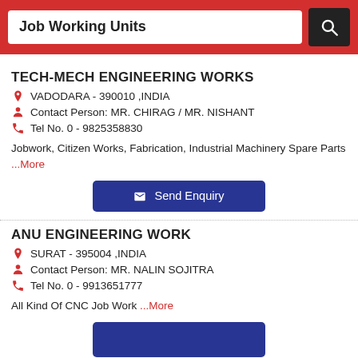Job Working Units
TECH-MECH ENGINEERING WORKS
VADODARA - 390010 ,INDIA
Contact Person: MR. CHIRAG / MR. NISHANT
Tel No. 0 - 9825358830
Jobwork, Citizen Works, Fabrication, Industrial Machinery Spare Parts ...More
ANU ENGINEERING WORK
SURAT - 395004 ,INDIA
Contact Person: MR. NALIN SOJITRA
Tel No. 0 - 9913651777
All Kind Of CNC Job Work ...More